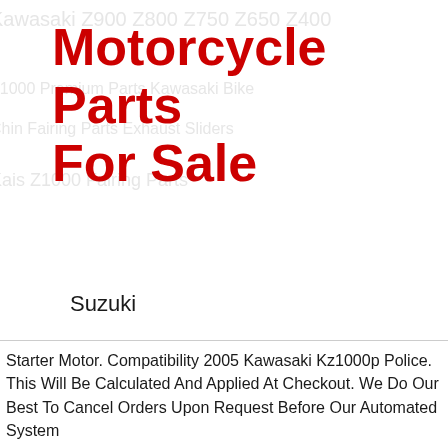Motorcycle Parts For Sale
Suzuki
Yamaha
Kawasaki
Harley Davidson
Harley
Vintage
Starter Motor. Compatibility 2005 Kawasaki Kz1000p Police. This Will Be Calculated And Applied At Checkout. We Do Our Best To Cancel Orders Upon Request Before Our Automated System